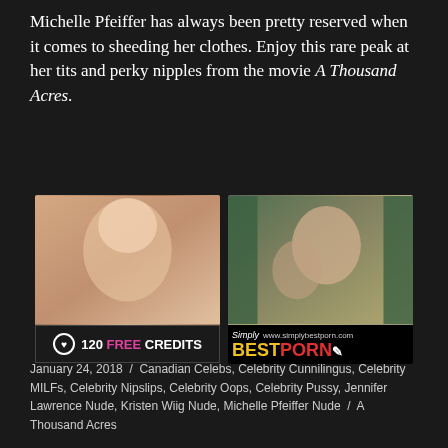Michelle Pfeiffer has always been pretty reserved when it comes to sheeding her clothes. Enjoy this rare peak at her tits and perky nipples from the movie A Thousand Acres.
[Figure (photo): Two advertisement banners side by side. Left ad shows a person lying down with '120 FREE CREDITS' text below. Right ad shows two people wrestling with 'Simply Best Porn' branding below.]
January 24, 2018  /  Canadian Celebs, Celebrity Cunnilingus, Celebrity MILFs, Celebrity Nipslips, Celebrity Oops, Celebrity Pussy, Jennifer Lawrence Nude, Kristen Wiig Nude, Michelle Pfeiffer Nude  /  A Thousand Acres